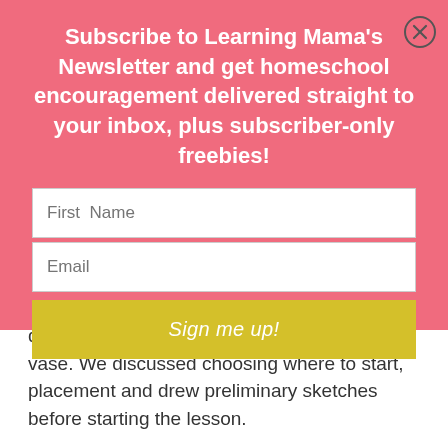Subscribe to Learning Mama's Newsletter and get homeschool encouragement delivered straight to your inbox, plus subscriber-only freebies!
[Figure (other): Close/dismiss button (circled X) in the top-right corner of the modal]
First Name
Email
Sign me up!
do Level 1, which is only the teapot and the vase. We discussed choosing where to start, placement and drew preliminary sketches before starting the lesson.
Like the previous lessons, step-by-step directions are given for drawing the objects.